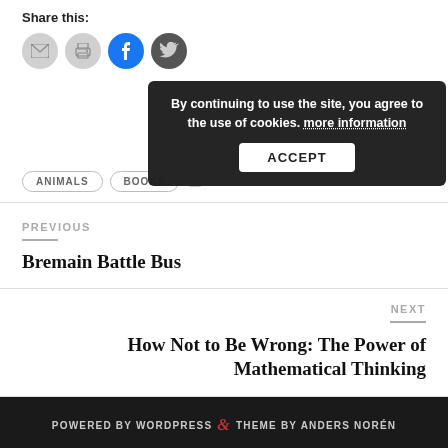Share this:
[Figure (infographic): Social share buttons: email (grey circle), print (grey circle), Facebook (blue circle with f icon), Twitter (dark circle with bird icon). A cookie consent overlay popup is positioned over the Twitter button and to the right, reading: 'By continuing to use the site, you agree to the use of cookies. more information' with an ACCEPT button.]
ANIMALS
BOOKS
PREVIOUS
Bremain Battle Bus
NEXT
How Not to Be Wrong: The Power of Mathematical Thinking
POWERED BY WORDPRESS & THEME BY ANDERS NORÉN